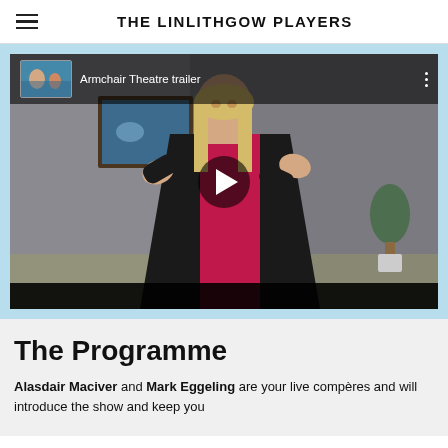THE LINLITHGOW PLAYERS
[Figure (screenshot): Video player thumbnail showing a woman in a red top and black jacket with hands raised, and a small inset image in the top-left corner. Title overlay reads 'Armchair Theatre trailer'. A play button is centered on the video.]
The Programme
Alasdair Maciver and Mark Eggeling are your live compères and will introduce the show and keep you